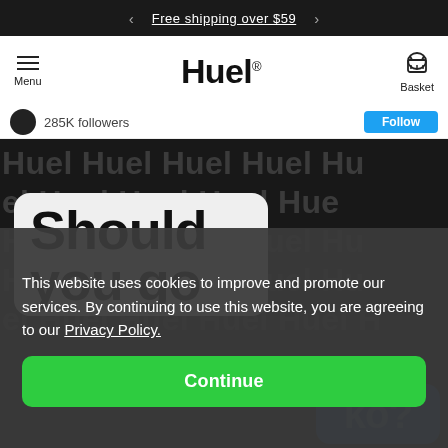Free shipping over $59
[Figure (logo): Huel brand logo with hamburger menu and basket navigation]
285K followers
[Figure (screenshot): Dark background image with repeated 'Huel' watermark text and a white rounded card showing 'Should you go' text, with a blue card partially visible at bottom]
This website uses cookies to improve and promote our services. By continuing to use this website, you are agreeing to our Privacy Policy.
Continue